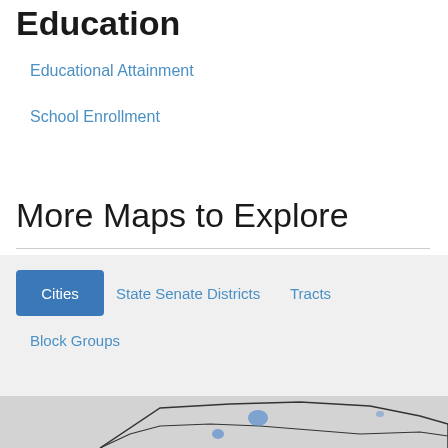Education
Educational Attainment
School Enrollment
More Maps to Explore
Cities
State Senate Districts
Tracts
Block Groups
[Figure (map): A geographic map showing region boundaries with light blue highlighted areas representing cities or districts.]